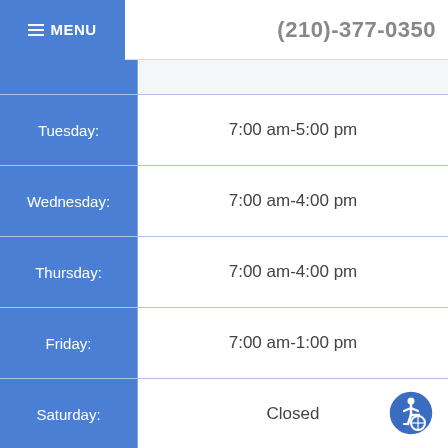≡ MENU   (210)-377-0350
| Day | Hours |
| --- | --- |
| Tuesday: | 7:00 am-5:00 pm |
| Wednesday: | 7:00 am-4:00 pm |
| Thursday: | 7:00 am-4:00 pm |
| Friday: | 7:00 am-1:00 pm |
| Saturday: | Closed |
| Sunday: | Closed |